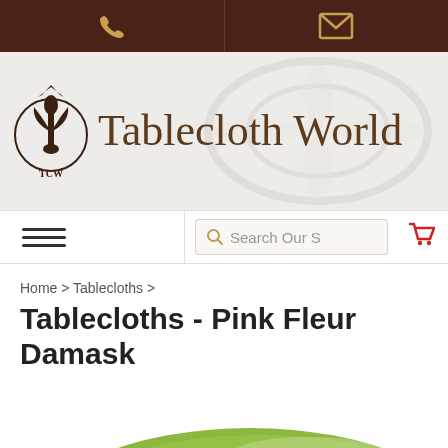Tablecloth World — phone and email contact bar
[Figure (logo): Tablecloth World logo with fleur-de-lis icon and text 'Tablecloth World' in serif font on decorative damask background]
Navigation bar with hamburger menu, search field 'Search Our S', and cart icon
Home > Tablecloths >
Tablecloths - Pink Fleur Damask
[Figure (photo): Round table covered with a green and pink fleur damask tablecloth, viewed from above at an angle]